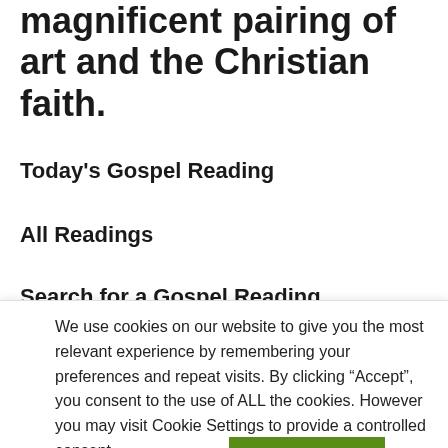magnificent pairing of art and the Christian faith.
Today's Gospel Reading
All Readings
Search for a Gospel Reading
Christian Art Videos
Become a Member
We use cookies on our website to give you the most relevant experience by remembering your preferences and repeat visits. By clicking “Accept”, you consent to the use of ALL the cookies. However you may visit Cookie Settings to provide a controlled consent.
Cookie settings
ACCEPT